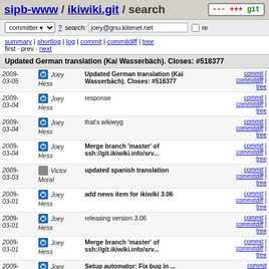sipb-www / ikiwiki.git / search
committer ? search: joey@gnu.kitenet.net re
summary | shortlog | log | commit | commitdiff | tree
first · prev · next
Updated German translation (Kai Wasserbäch). Closes: #518377
| Date | Author | Message | Links |
| --- | --- | --- | --- |
| 2009-03-05 | Joey Hess | Updated German translation (Kai Wasserbäch). Closes: #518377 | commit | commitdiff | tree |
| 2009-03-04 | Joey Hess | response | commit | commitdiff | tree |
| 2009-03-04 | Joey Hess | that's wikiwyg | commit | commitdiff | tree |
| 2009-03-04 | Joey Hess | Merge branch 'master' of ssh://git.ikiwiki.info/srv... | commit | commitdiff | tree |
| 2009-03-03 | Victor Moral | updated spanish translation | commit | commitdiff | tree |
| 2009-03-01 | Joey Hess | add news item for ikiwiki 3.06 | commit | commitdiff | tree |
| 2009-03-01 | Joey Hess | releasing version 3.06 | commit | commitdiff | tree |
| 2009-03-01 | Joey Hess | Merge branch 'master' of ssh://git.ikiwiki.info/srv... | commit | commitdiff | tree |
| 2009-... | Joey ... | Setup automator: Fix bug in ... | commit |